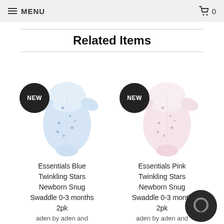MENU  🛒 0
Related Items
[Figure (photo): Essentials Blue Twinkling Stars baby swaddle with dark circular NEW badge overlay]
Essentials Blue Twinkling Stars Newborn Snug Swaddle 0-3 months 2pk
aden by aden and
[Figure (photo): Essentials Pink Twinkling Stars baby swaddle with dark circular NEW badge overlay]
Essentials Pink Twinkling Stars Newborn Snug Swaddle 0-3 months 2pk
aden by aden and